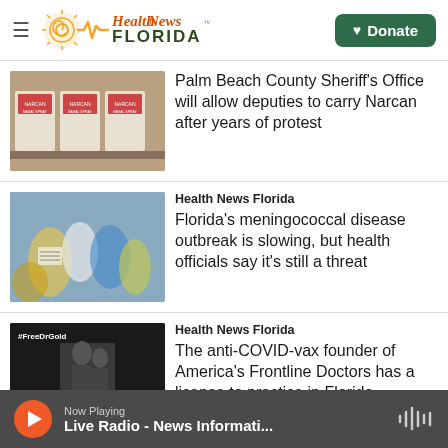Health News Florida
[Figure (photo): Boxes of Narcan nasal spray on a shelf]
Palm Beach County Sheriff's Office will allow deputies to carry Narcan after years of protest
[Figure (photo): Blurred medical vials and syringes]
Health News Florida
Florida's meningococcal disease outbreak is slowing, but health officials say it's still a threat
[Figure (screenshot): Black and white video screenshot with text #FreeDrGold and caption DESPITE PEACEFULLY GIVING HER SPEECH]
Health News Florida
The anti-COVID-vax founder of America's Frontline Doctors has a license to practice in Florida
Now Playing — Live Radio - News Informati...